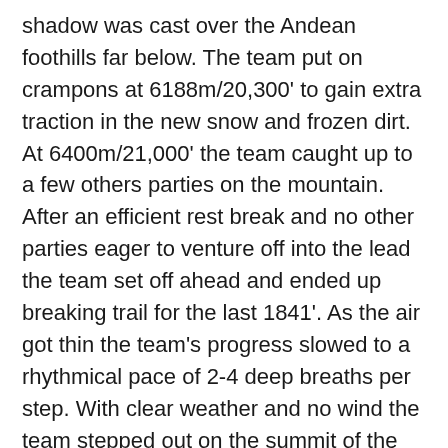shadow was cast over the Andean foothills far below. The team put on crampons at 6188m/20,300' to gain extra traction in the new snow and frozen dirt. At 6400m/21,000' the team caught up to a few others parties on the mountain. After an efficient rest break and no other parties eager to venture off into the lead the team set off ahead and ended up breaking trail for the last 1841'. As the air got thin the team's progress slowed to a rhythmical pace of 2-4 deep breaths per step. With clear weather and no wind the team stepped out on the summit of the highest mountain in South America at 1:30pm. After some congratulatory pictures and hugs for a job well done the team ate and drank then descended back the way they came.
The rendezvous back in Mendoza brought the entire team back together where celebrations